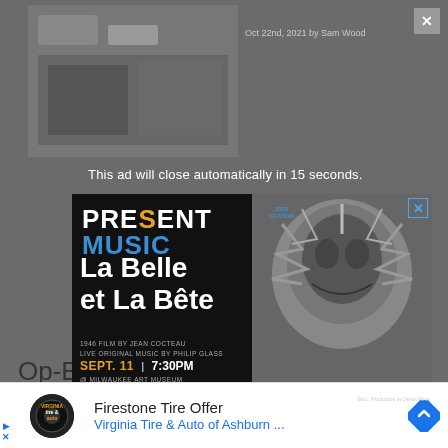Oct 22nd, 2021 by Sam Wood
This ad will close automatically in 15 seconds.
[Figure (screenshot): Present Music 2022 Season advertisement for La Belle et La Bête (1946 film by Jean Cocteau, live original music by Philip Glass). Event: Sept. 11 | 7:30PM @ Milwaukee Art Museum. Tickets Start at $15. Get Yours HERE!]
Op-B
WEDG... abor Challe...
[Figure (logo): Firestone tire and auto logo circular black badge]
Firestone Tire Offer
Virginia Tire & Auto of Ashburn ...